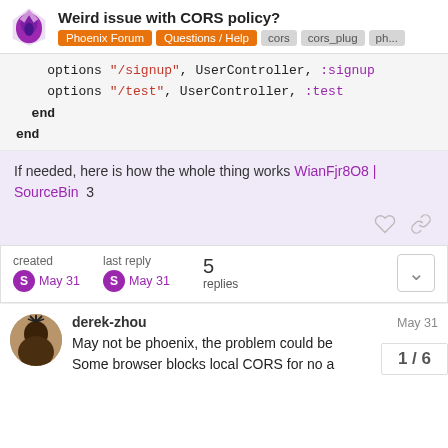Weird issue with CORS policy? | Phoenix Forum | Questions / Help | cors | cors_plug | ph...
options "/signup", UserController, :signup
    options "/test", UserController, :test
  end
end
If needed, here is how the whole thing works WianFjr8O8 | SourceBin  3
created  May 31   last reply  May 31   5 replies
derek-zhou  May 31
May not be phoenix, the problem could be  Some browser blocks local CORS for no a